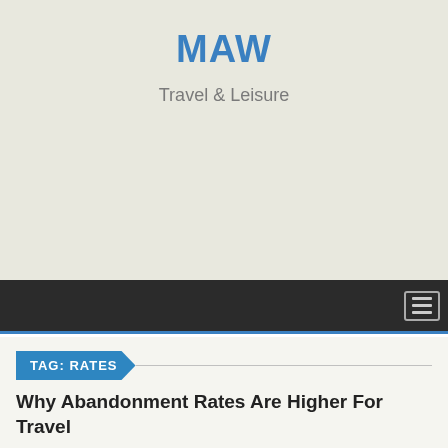MAW
Travel & Leisure
[Figure (other): Dark navigation bar with hamburger menu icon on the right]
TAG: RATES
Why Abandonment Rates Are Higher For Travel